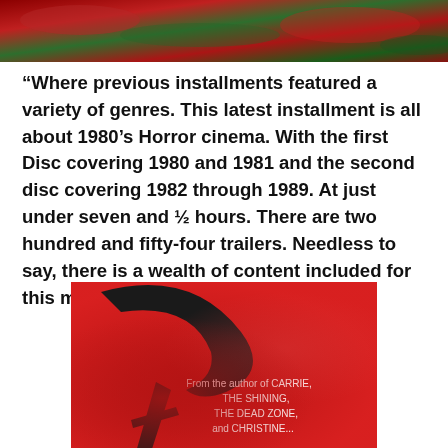[Figure (photo): Top portion of a horror movie compilation cover, showing red and green imagery with tentacles or decorative elements]
“Where previous installments featured a variety of genres. This latest installment is all about 1980’s Horror cinema. With the first Disc covering 1980 and 1981 and the second disc covering 1982 through 1989. At just under seven and ½ hours. There are two hundred and fifty-four trailers. Needless to say, there is a wealth of content included for this mammoth release”.
[Figure (photo): Movie poster on red background showing a large black sickle/scythe silhouette with text reading 'From the author of CARRIE, THE SHINING, THE DEAD ZONE, and CHRISTINE...']